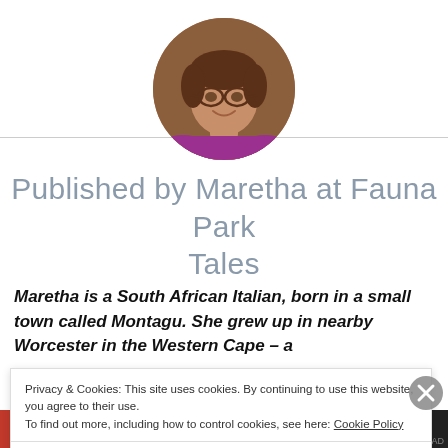[Figure (photo): Circular profile photo of a middle-aged woman with glasses and brown hair, smiling]
Published by Maretha at Fauna Park Tales
Maretha is a South African Italian, born in a small town called Montagu. She grew up in nearby Worcester in the Western Cape – a
Privacy & Cookies: This site uses cookies. By continuing to use this website, you agree to their use.
To find out more, including how to control cookies, see here: Cookie Policy
Close and accept